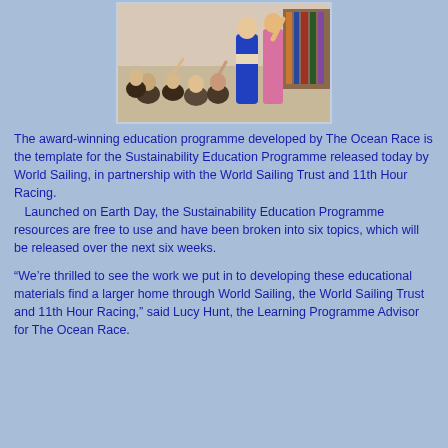[Figure (photo): Children sitting on the floor in a library or classroom setting with adults/teachers engaging with them, some children raising hands or reaching up]
The award-winning education programme developed by The Ocean Race is the template for the Sustainability Education Programme released today by World Sailing, in partnership with the World Sailing Trust and 11th Hour Racing.
   Launched on Earth Day, the Sustainability Education Programme resources are free to use and have been broken into six topics, which will be released over the next six weeks.
“We’re thrilled to see the work we put in to developing these educational materials find a larger home through World Sailing, the World Sailing Trust and 11th Hour Racing,” said Lucy Hunt, the Learning Programme Advisor for The Ocean Race.